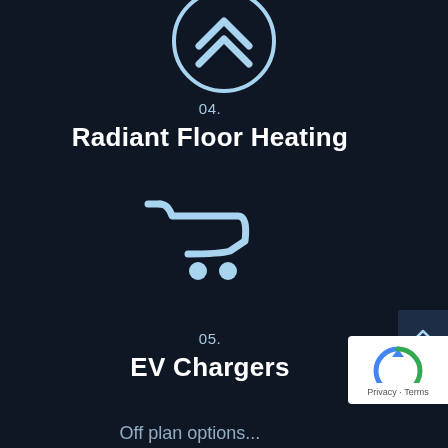[Figure (illustration): Light blue double chevron up arrow icon inside a circle, partially cropped at top]
04.
Radiant Floor Heating
[Figure (illustration): Light blue shopping cart icon]
05.
EV Chargers
Off plan options...